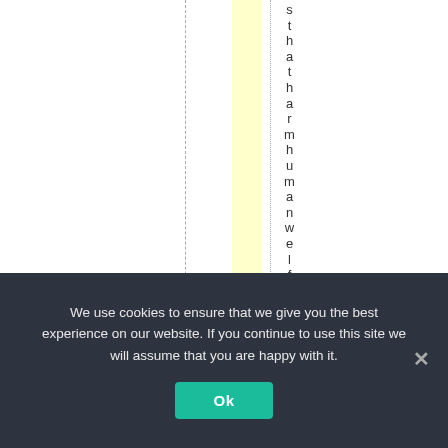[Figure (other): Document page showing a vertical yellow highlighted column, dashed and dotted vertical lines, and vertically written text reading 'sthattharmhumanwelf' (partial, bottom cut off). This appears to be a portion of a legal or policy document with annotation/markup formatting.]
We use cookies to ensure that we give you the best experience on our website. If you continue to use this site we will assume that you are happy with it.